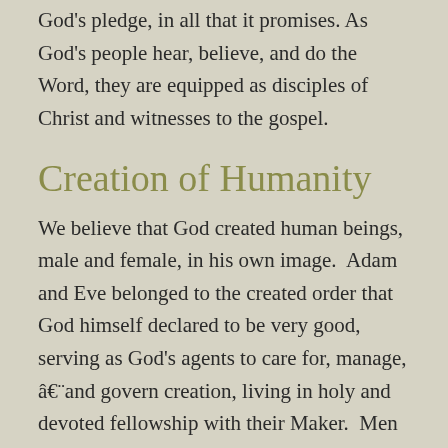God's pledge, in all that it promises. As God's people hear, believe, and do the Word, they are equipped as disciples of Christ and witnesses to the gospel.
Creation of Humanity
We believe that God created human beings, male and female, in his own image.  Adam and Eve belonged to the created order that God himself declared to be very good, serving as God's agents to care for, manage, â€¨and govern creation, living in holy and devoted fellowship with their Maker.  Men and women, equally made in the image of God, enjoy equal access to God by faith in Christ Jesus and are both called to move beyond passive self-